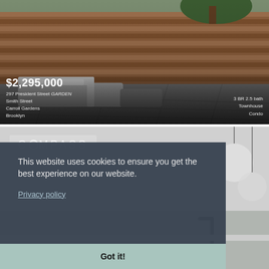[Figure (photo): Outdoor patio/garden area with grey tile flooring, sectional sofa, and warm wooden fence panels with trees in background]
$2,295,000
297 President Street GARDEN
Smith Street
Carroll Gardens
Brooklyn
3 BR 2.5 bath
Townhouse
Condo
[Figure (photo): Compass real estate website screenshot showing interior kitchen photo with pendant lights and dark faucet, with COMPASS logo overlay]
This website uses cookies to ensure you get the best experience on our website.
Privacy policy
Got it!